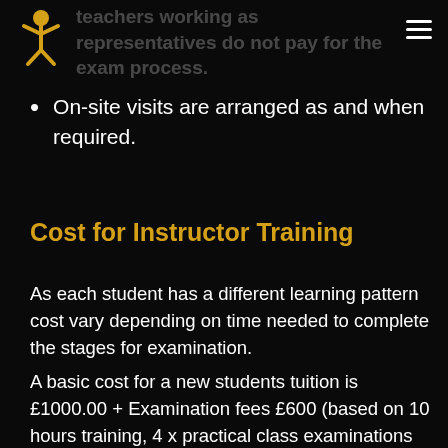teachers working as representatives do not pay for the exam process.
On-site visits are arranged as and when required.
Cost for Instructor Training
As each student has a different learning pattern cost vary depending on time needed to complete the stages for examination.
A basic cost for a new students tuition is £1000.00 + Examination fees £600 (based on 10 hours training, 4 x practical class examinations and a written exam) Existing students may not require as much 1:1 tuition and only the exam process. Other may need more tuition and more...